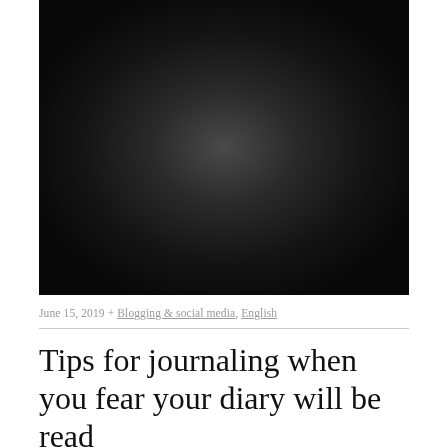[Figure (photo): Dark/black hero image with subtle radial glow in center, nearly entirely black background]
June 15, 2019 + Blogging & social media, English
Tips for journaling when you fear your diary will be read